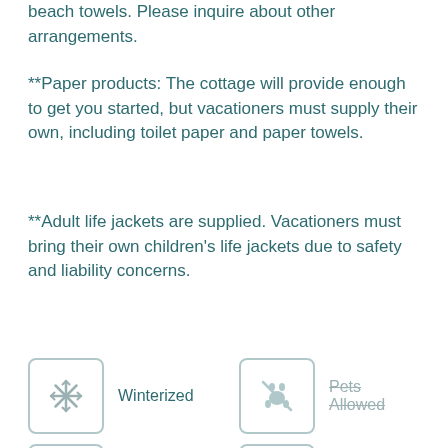beach towels. Please inquire about other arrangements.
**Paper products: The cottage will provide enough to get you started, but vacationers must supply their own, including toilet paper and paper towels.
**Adult life jackets are supplied. Vacationers must bring their own children's life jackets due to safety and liability concerns.
[Figure (infographic): Four amenity icons in a 2x2 grid: Winterized (active, snowflake icon), Pets Allowed (strikethrough, crossed-out pet icon), Internet/WiFi (strikethrough, wifi icon), Accessible (strikethrough, wheelchair icon)]